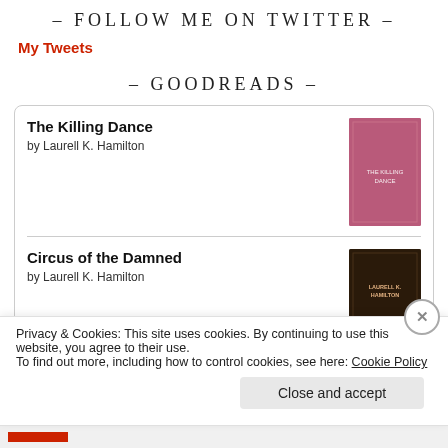- FOLLOW ME ON TWITTER -
My Tweets
- GOODREADS -
The Killing Dance by Laurell K. Hamilton
Circus of the Damned by Laurell K. Hamilton
Privacy & Cookies: This site uses cookies. By continuing to use this website, you agree to their use.
To find out more, including how to control cookies, see here: Cookie Policy
Close and accept